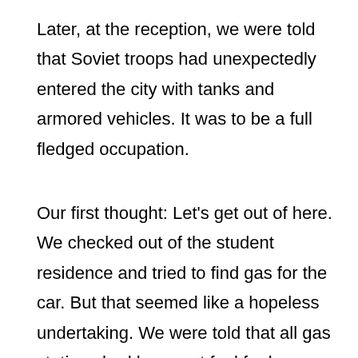Later, at the reception, we were told that Soviet troops had unexpectedly entered the city with tanks and armored vehicles. It was to be a full fledged occupation.
Our first thought: Let's get out of here. We checked out of the student residence and tried to find gas for the car. But that seemed like a hopeless undertaking. We were told that all gas stations had been out fuel for hours. So we drove to the train station to call the Canadian and American embassies. But there we encountered Soviet tanks and troops.